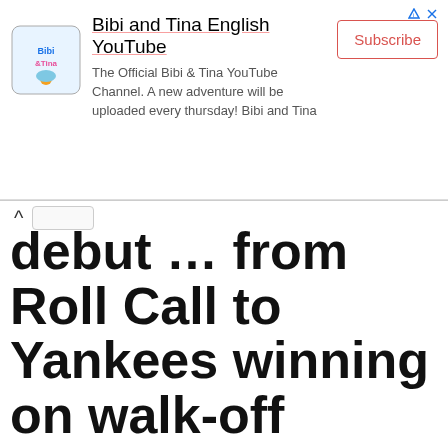[Figure (logo): Bibi and Tina YouTube channel advertisement banner with logo, channel name, description, and Subscribe button]
debut … from Roll Call to Yankees winning on walk-off grand slam
August 18, 2022 by admin
Oswaldo Cabrera lives a dream in MLB debut … from Roll Call to Yankees winning on walk-off grand slam